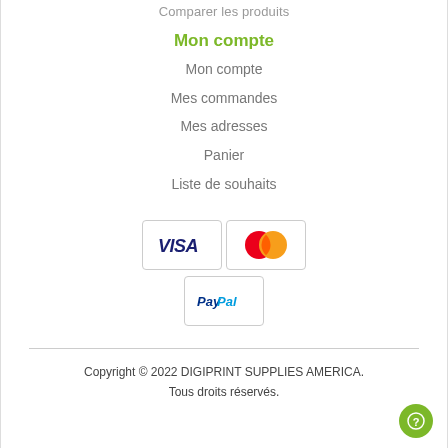Comparer les produits
Mon compte
Mon compte
Mes commandes
Mes adresses
Panier
Liste de souhaits
[Figure (other): Payment method icons: VISA card, Mastercard, and PayPal logos]
Copyright © 2022 DIGIPRINT SUPPLIES AMERICA. Tous droits réservés.